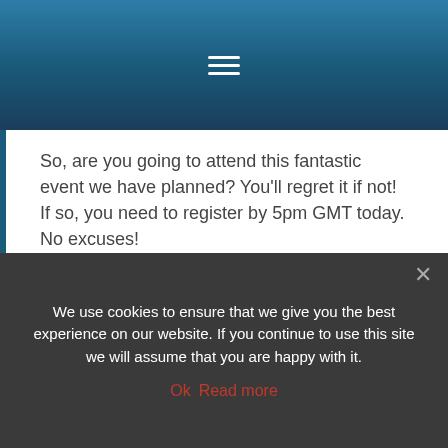[Figure (screenshot): Website header bar with hamburger menu icon (three horizontal lines) on a blue gradient background]
So, are you going to attend this fantastic event we have planned? You'll regret it if not!  If so, you need to register by 5pm GMT today.  No excuses!
If for any reason you can't make it in person, please look out for the video recordings and presentations that we'll be publishing next week. Social in focus, thought and deed, we're determined to share this event with as many people as we can... Also, make sure you follow the Twitter users @soccnx and hashtag #soccnx for coverage during the day on Friday.
We use cookies to ensure that we give you the best experience on our website. If you continue to use this site we will assume that you are happy with it.
Ok  Read more